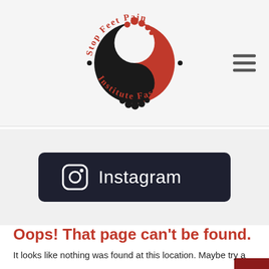[Figure (logo): Stop Feet Pain Fast Institute circular logo with red and black yin-yang style foot graphic and text around the circle]
[Figure (screenshot): Dark Instagram button/badge with Instagram icon and text 'Instagram']
Oops! That page can't be found.
It looks like nothing was found at this location. Maybe try a